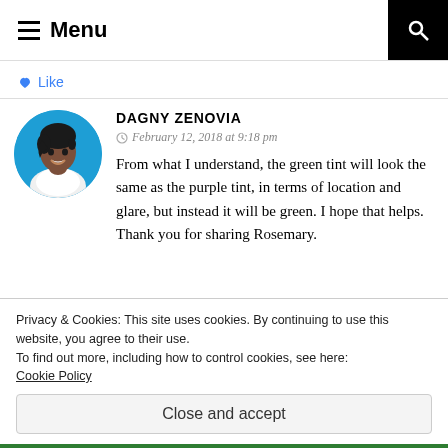Menu
Like
DAGNY ZENOVIA
February 12, 2018 at 9:18 pm
From what I understand, the green tint will look the same as the purple tint, in terms of location and glare, but instead it will be green. I hope that helps. Thank you for sharing Rosemary.
Privacy & Cookies: This site uses cookies. By continuing to use this website, you agree to their use.
To find out more, including how to control cookies, see here:
Cookie Policy
Close and accept